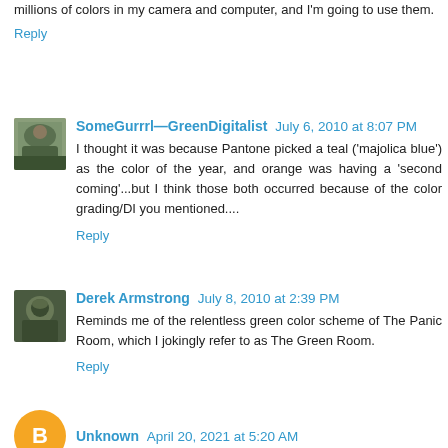millions of colors in my camera and computer, and I'm going to use them.
Reply
SomeGurrrl—GreenDigitalist July 6, 2010 at 8:07 PM
I thought it was because Pantone picked a teal ('majolica blue') as the color of the year, and orange was having a 'second coming'...but I think those both occurred because of the color grading/DI you mentioned....
Reply
Derek Armstrong July 8, 2010 at 2:39 PM
Reminds me of the relentless green color scheme of The Panic Room, which I jokingly refer to as The Green Room.
Reply
Unknown April 20, 2021 at 5:20 AM